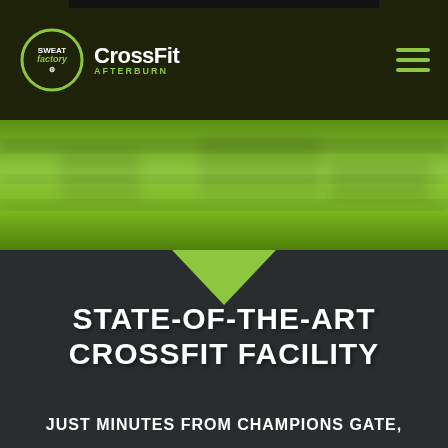Sweat Factory CrossFit Afterburn
[Figure (photo): Blurred green gym/outdoor background in a horizontal band with motion blur effect]
STATE-OF-THE-ART CROSSFIT FACILITY
JUST MINUTES FROM CHAMPIONS GATE,